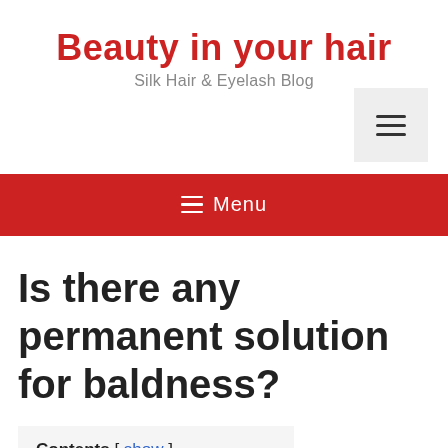Beauty in your hair
Silk Hair & Eyelash Blog
[Figure (other): Hamburger menu button icon in a light gray square box]
[Figure (other): Red navigation bar with hamburger icon and Menu text]
Is there any permanent solution for baldness?
Contents [ show ]